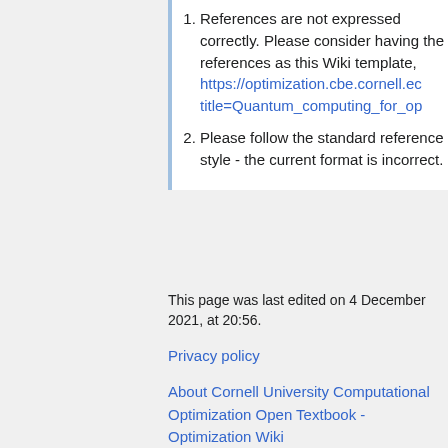References are not expressed correctly. Please consider having the references as this Wiki template, https://optimization.cbe.cornell.edu...title=Quantum_computing_for_op...
Please follow the standard reference style - the current format is incorrect.
This page was last edited on 4 December 2021, at 20:56.
Privacy policy
About Cornell University Computational Optimization Open Textbook - Optimization Wiki
Disclaimers